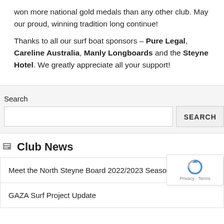won more national gold medals than any other club. May our proud, winning tradition long continue!
Thanks to all our surf boat sponsors – Pure Legal, Careline Australia, Manly Longboards and the Steyne Hotel. We greatly appreciate all your support!
Search
Club News
Meet the North Steyne Board 2022/2023 Season
GAZA Surf Project Update